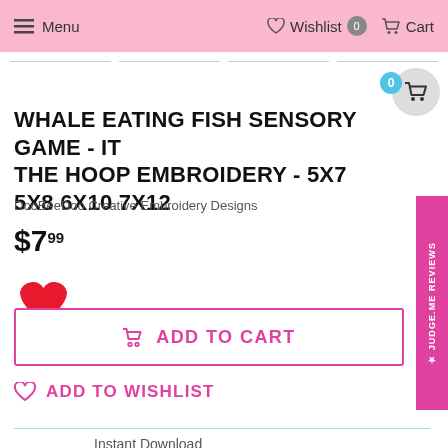Menu | Wishlist 0 | Cart
WHALE EATING FISH SENSORY GAME - IN THE HOOP EMBROIDERY - 5X7 5X8 6X10 7X12
DooBeeDoo Creative Embroidery Designs
$7.99
ADD TO CART
ADD TO WISHLIST
Instant Download